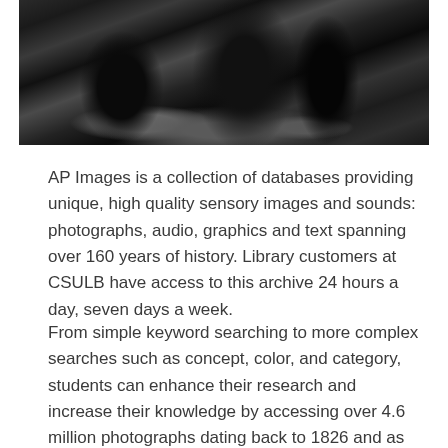[Figure (photo): Black and white photograph showing dark silhouetted figures, cropped at the top of the page]
AP Images is a collection of databases providing unique, high quality sensory images and sounds: photographs, audio, graphics and text spanning over 160 years of history. Library customers at CSULB have access to this archive 24 hours a day, seven days a week.
From simple keyword searching to more complex searches such as concept, color, and category, students can enhance their research and increase their knowledge by accessing over 4.6 million photographs dating back to 1826 and as current as a few moments ago. Tens of thousands of graphics, more than 4,500 hours of audio